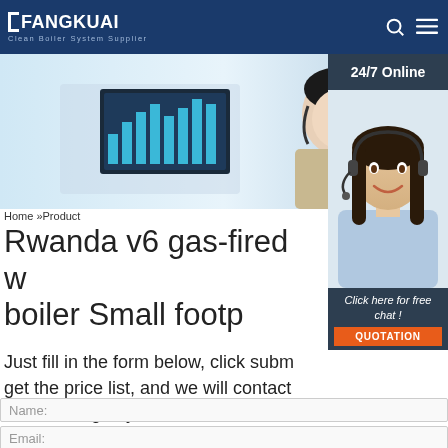FANGKUAI Clean Boiler System Supplier
[Figure (photo): Banner image of customer service representative at desk with monitor showing bar chart, and another woman with headset smiling]
[Figure (photo): 24/7 Online customer service representative with headset, smiling, overlay on right side]
Home »Product
Rwanda v6 gas-fired w boiler Small footp
Just fill in the form below, click subm get the price list, and we will contact one working day. Please also feel free to contact us via email or phone. (* is required).
Name:
Email: